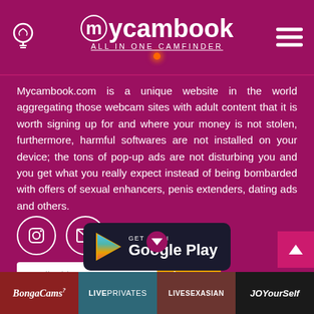mycambook ALL IN ONE CAMFINDER
Mycambook.com is a unique website in the world aggregating those webcam sites with adult content that it is worth signing up for and where your money is not stolen, furthermore, harmful softwares are not installed on your device; the tons of pop-up ads are not disturbing you and you get what you really expect instead of being bombarded with offers of sexual enhancers, penis extenders, dating ads and others.
[Figure (illustration): Social media icons: Instagram circle icon and Email/envelope circle icon]
[Figure (screenshot): Email address input field with Sign up > button]
[Figure (logo): Get it on Google Play banner, partially visible]
[Figure (logo): Partner logos bar: BongaCams, LivePrivates, LiveSexAsian, JOYourSelf]